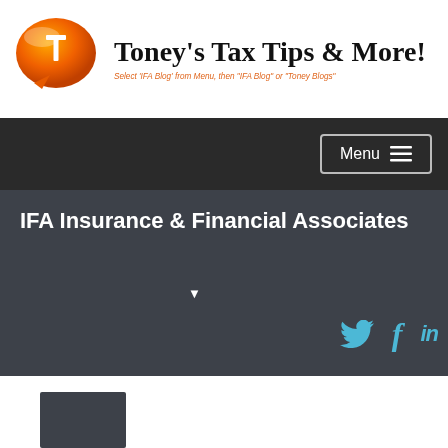[Figure (logo): Orange speech bubble with letter T logo for Toney's Tax Tips & More!]
Toney's Tax Tips & More!
Select 'IFA Blog' from Menu, then 'IFA Blog' or 'Toney Blogs'
Menu
IFA Insurance & Financial Associates
[Figure (illustration): Social media icons: Twitter bird, Facebook f, LinkedIn in]
[Figure (photo): Dark gray thumbnail image block at bottom left]